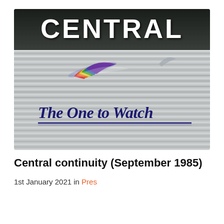[Figure (screenshot): A screenshot of the Central Television ident from September 1985. The top portion shows a dark background with the word 'CENTRAL' in large white 3D-style letters. Below is a silver metallic horizontal-striped background with a rainbow-colored bird/checkmark logo streaking across. In cursive dark blue handwriting-style text reads 'The One to Watch' with an underline.]
Central continuity (September 1985)
1st January 2021 in Pres